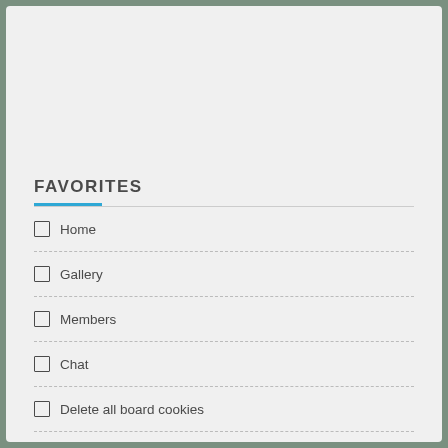FAVORITES
Home
Gallery
Members
Chat
Delete all board cookies